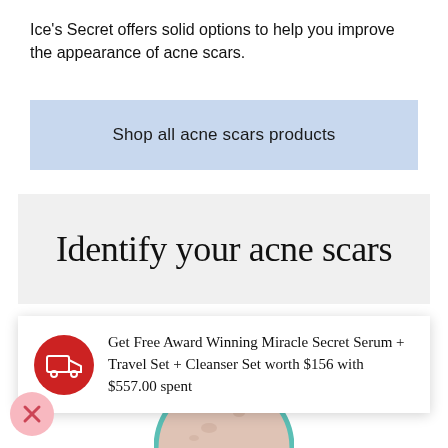Ice's Secret offers solid options to help you improve the appearance of acne scars.
Shop all acne scars products
Identify your acne scars
Get Free Award Winning Miracle Secret Serum + Travel Set + Cleanser Set worth $156 with $557.00 spent
[Figure (photo): Close-up circular product image (pink/cream texture) with teal border, partially visible at bottom of page]
[Figure (illustration): Close button (X) circle in pink at bottom left]